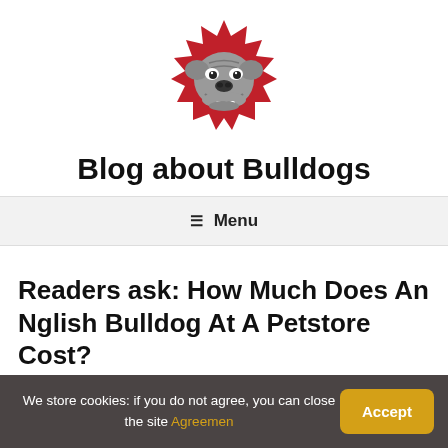[Figure (logo): Bulldog mascot logo — cartoon bulldog face emerging from a red starburst background]
Blog about Bulldogs
☰  Menu
Readers ask: How Much Does An Nglish Bulldog At A Petstore Cost?
We store cookies: if you do not agree, you can close the site Agreemen